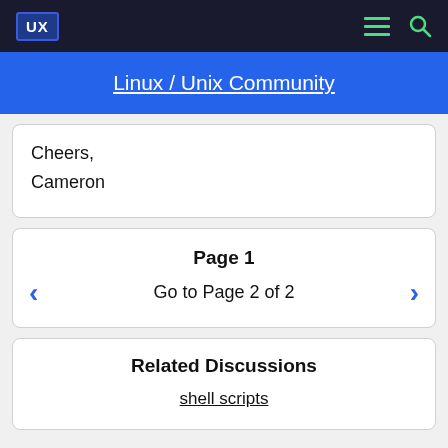UX | Linux / Unix Community
Linux / Unix Community
Cheers,
Cameron
Page 1
Go to Page 2 of 2
Related Discussions
shell scripts